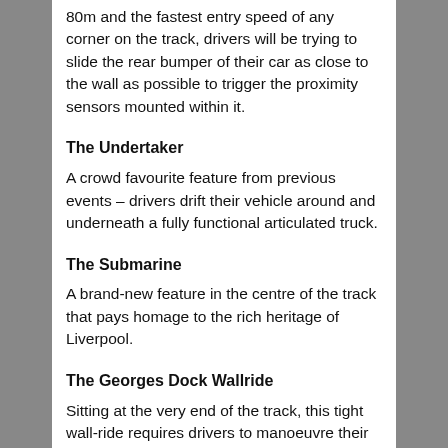80m and the fastest entry speed of any corner on the track, drivers will be trying to slide the rear bumper of their car as close to the wall as possible to trigger the proximity sensors mounted within it.
The Undertaker
A crowd favourite feature from previous events – drivers drift their vehicle around and underneath a fully functional articulated truck.
The Submarine
A brand-new feature in the centre of the track that pays homage to the rich heritage of Liverpool.
The Georges Dock Wallride
Sitting at the very end of the track, this tight wall-ride requires drivers to manoeuvre their vehicle perfectly or face vehicle demolition. To gain bonus points for hitting all six sensors on this wall ride, drivers will have to position their vehicle within